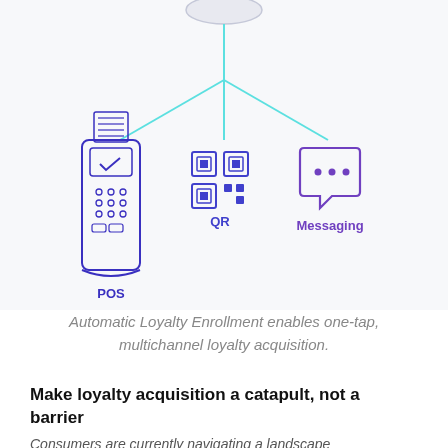[Figure (infographic): Diagram showing three loyalty enrollment channels — POS (payment terminal icon), QR (QR code icon), and Messaging (chat bubble icon) — connected by lines branching from a central node above.]
Automatic Loyalty Enrollment enables one-tap, multichannel loyalty acquisition.
Make loyalty acquisition a catapult, not a barrier
Consumers are currently navigating a landscape